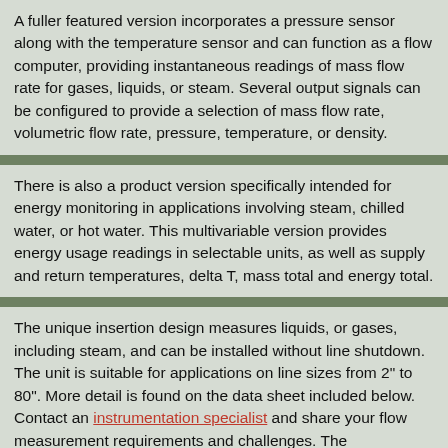A fuller featured version incorporates a pressure sensor along with the temperature sensor and can function as a flow computer, providing instantaneous readings of mass flow rate for gases, liquids, or steam. Several output signals can be configured to provide a selection of mass flow rate, volumetric flow rate, pressure, temperature, or density.
There is also a product version specifically intended for energy monitoring in applications involving steam, chilled water, or hot water. This multivariable version provides energy usage readings in selectable units, as well as supply and return temperatures, delta T, mass total and energy total.
The unique insertion design measures liquids, or gases, including steam, and can be installed without line shutdown. The unit is suitable for applications on line sizes from 2" to 80". More detail is found on the data sheet included below. Contact an instrumentation specialist and share your flow measurement requirements and challenges. The combination of your process knowledge and their product application expertise will produce effective solutions.